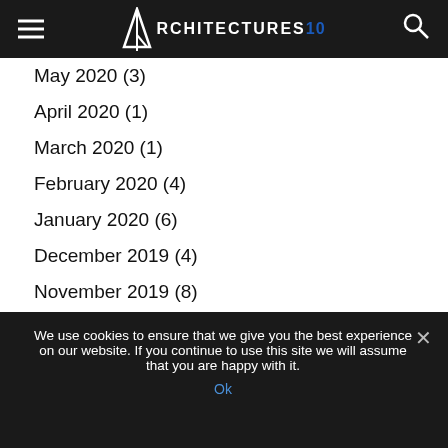Architectures10 (logo and navigation)
May 2020 (3)
April 2020 (1)
March 2020 (1)
February 2020 (4)
January 2020 (6)
December 2019 (4)
November 2019 (8)
October 2019 (3)
September 2019 (3)
August 2019 (8)
We use cookies to ensure that we give you the best experience on our website. If you continue to use this site we will assume that you are happy with it.
Ok